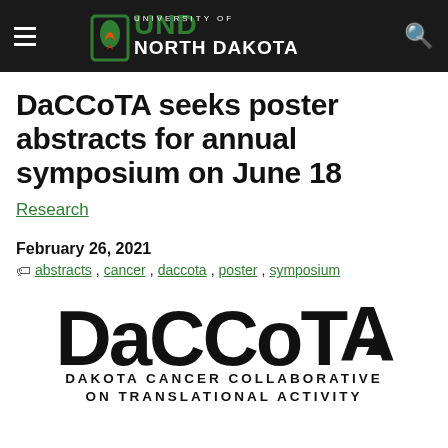University of North Dakota
DaCCoTA seeks poster abstracts for annual symposium on June 18
Research
February 26, 2021
abstracts , cancer , daccota , poster , symposium
[Figure (logo): DaCCoTA - Dakota Cancer Collaborative on Translational Activity logo in black text]